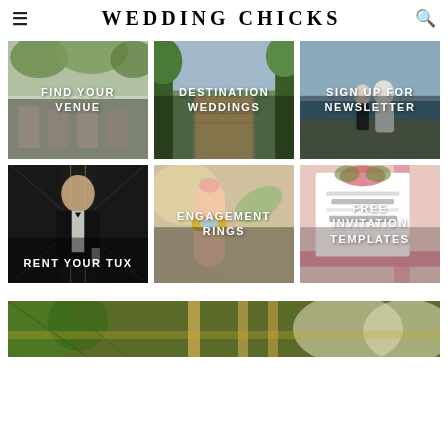WEDDING CHICKS
[Figure (photo): Photo card: wedding venue with tables and greenery, label FIND YOUR VENUE]
[Figure (photo): Photo card: tropical boardwalk destination, label DESTINATION WEDDINGS]
[Figure (photo): Photo card: bride and groom at ocean cliffs, label SIGN UP FOR NEWSLETTER]
[Figure (photo): Photo card: man in black tuxedo, label RENT YOUR TUX]
[Figure (photo): Photo card: close-up hand with engagement ring, label ENGAGEMENT RINGS]
[Figure (photo): Photo card: printed wedding invitation template with floral design, label FREE INVITATION TEMPLATES]
[Figure (photo): Bottom strip photo: outdoor floral wedding setup with tropical greenery and white flowers]